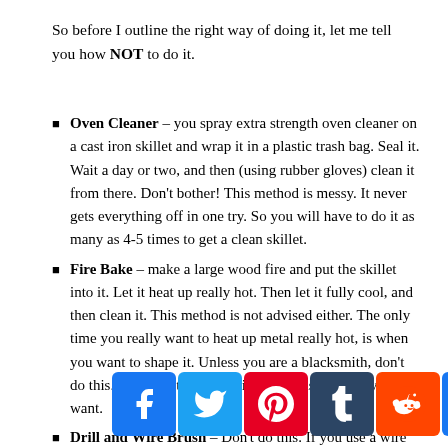So before I outline the right way of doing it, let me tell you how NOT to do it.
Oven Cleaner – you spray extra strength oven cleaner on a cast iron skillet and wrap it in a plastic trash bag. Seal it. Wait a day or two, and then (using rubber gloves) clean it from there. Don't bother! This method is messy. It never gets everything off in one try. So you will have to do it as many as 4-5 times to get a clean skillet.
Fire Bake – make a large wood fire and put the skillet into it. Let it heat up really hot. Then let it fully cool, and then clean it. This method is not advised either. The only time you really want to heat up metal really hot, is when you want to shape it. Unless you are a blacksmith, don't do this. You might think it will end up as clean as you want.
Drill and Wire Brush – Don't do this. If you use a wire that's hard enough to clean it, it is also hard